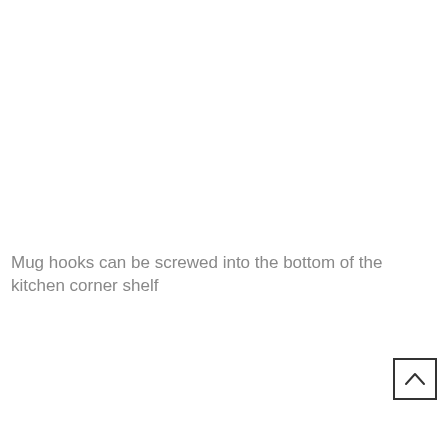Mug hooks can be screwed into the bottom of the kitchen corner shelf
[Figure (other): Navigation up-arrow button in a square box]